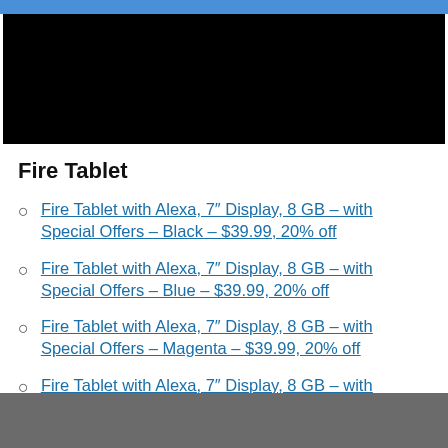[Figure (screenshot): Black image/video area at top of page]
Fire Tablet
Fire Tablet with Alexa, 7″ Display, 8 GB – with Special Offers – Black – $39.99, 20% off
Fire Tablet with Alexa, 7″ Display, 8 GB – with Special Offers – Blue – $39.99, 20% off
Fire Tablet with Alexa, 7″ Display, 8 GB – with Special Offers – Magenta – $39.99, 20% off
Fire Tablet with Alexa, 7″ Display, 8 GB – with Special Offers – Tangerine – $39.99, 20% off